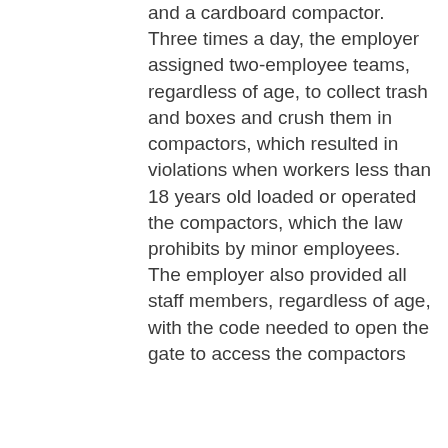and a cardboard compactor. Three times a day, the employer assigned two-employee teams, regardless of age, to collect trash and boxes and crush them in compactors, which resulted in violations when workers less than 18 years old loaded or operated the compactors, which the law prohibits by minor employees. The employer also provided all staff members, regardless of age, with the code needed to open the gate to access the compactors